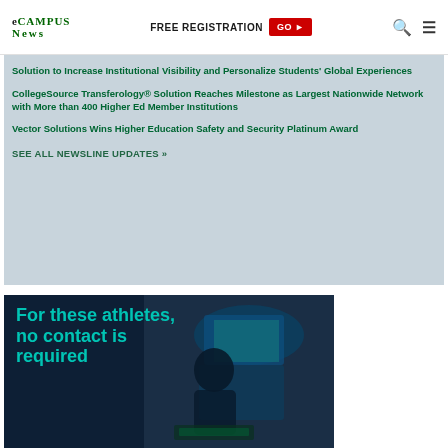eCampus News | FREE REGISTRATION GO ►
Solution to Increase Institutional Visibility and Personalize Students' Global Experiences
CollegeSource Transferology® Solution Reaches Milestone as Largest Nationwide Network with More than 400 Higher Ed Member Institutions
Vector Solutions Wins Higher Education Safety and Security Platinum Award
SEE ALL NEWSLINE UPDATES »
[Figure (photo): Person with gaming headset in front of monitors with teal overlay text reading 'For these athletes, no contact is required']